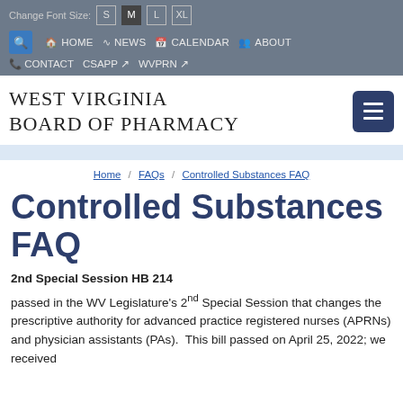Change Font Size: S M L XL | HOME | NEWS | CALENDAR | ABOUT | CONTACT | CSAPP | WVPRN
West Virginia Board of Pharmacy
Home / FAQs / Controlled Substances FAQ
Controlled Substances FAQ
2nd Special Session HB 214
passed in the WV Legislature's 2nd Special Session that changes the prescriptive authority for advanced practice registered nurses (APRNs) and physician assistants (PAs).  This bill passed on April 25, 2022; we received notification from the Governor's Office that this bill